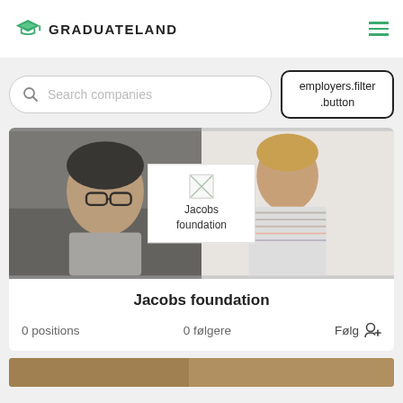[Figure (logo): GraduateLand logo with green graduation cap icon and text GRADUATELAND]
[Figure (screenshot): Search companies input field with magnifying glass icon]
employers.filter.button
[Figure (photo): Two-panel photo card: left shows man with glasses in office setting, right shows man in striped shirt leaning over desk. Center overlay shows Jacobs foundation logo placeholder.]
Jacobs foundation
0 positions
0 følgere
Følg